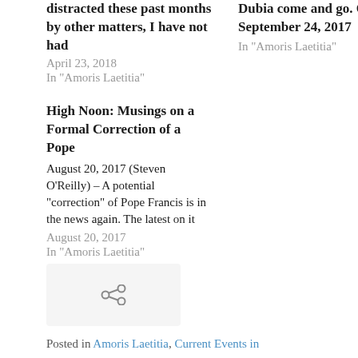distracted these past months by other matters, I have not had
April 23, 2018
In "Amoris Laetitia"
Dubia come and go. On September 24, 2017 In "Amoris Laetitia"
High Noon: Musings on a Formal Correction of a Pope
August 20, 2017 (Steven O'Reilly) – A potential "correction" of Pope Francis is in the news again. The latest on it
August 20, 2017
In "Amoris Laetitia"
[Figure (other): Link/share icon in a light gray rounded box]
Posted in Amoris Laetitia, Current Events in